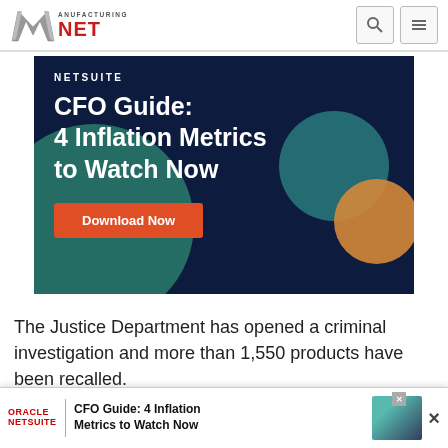Manufacturing.net
[Figure (screenshot): NetSuite advertisement banner: CFO Guide: 4 Inflation Metrics to Watch Now, with a Download Now button on dark navy background with teal and orange decorative elements]
The Justice Department has opened a criminal investigation and more than 1,550 products have been recalled.
[Figure (screenshot): Oracle NetSuite bottom banner ad: CFO Guide: 4 Inflation Metrics to Watch Now]